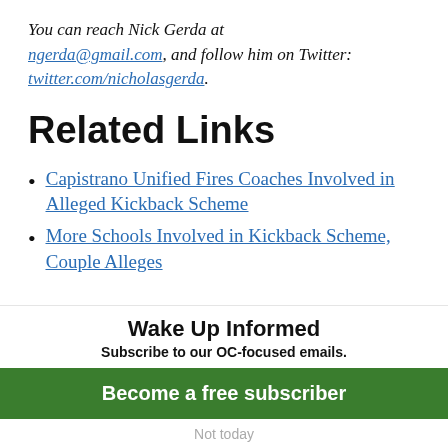You can reach Nick Gerda at ngerda@gmail.com, and follow him on Twitter: twitter.com/nicholasgerda.
Related Links
Capistrano Unified Fires Coaches Involved in Alleged Kickback Scheme
More Schools Involved in Kickback Scheme, Couple Alleges
Wake Up Informed
Subscribe to our OC-focused emails.
Become a free subscriber
Not today